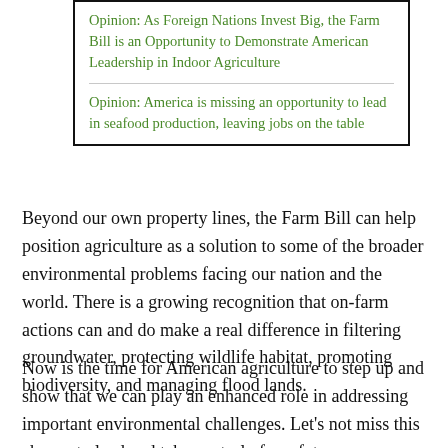Opinion: As Foreign Nations Invest Big, the Farm Bill is an Opportunity to Demonstrate American Leadership in Indoor Agriculture
Opinion: America is missing an opportunity to lead in seafood production, leaving jobs on the table
Beyond our own property lines, the Farm Bill can help position agriculture as a solution to some of the broader environmental problems facing our nation and the world. There is a growing recognition that on-farm actions can and do make a real difference in filtering groundwater, protecting wildlife habitat, promoting biodiversity, and managing flood lands.
Now is the time for American agriculture to step up and show that we can play an enhanced role in addressing important environmental challenges. Let's not miss this chance to lead and take control of our future.